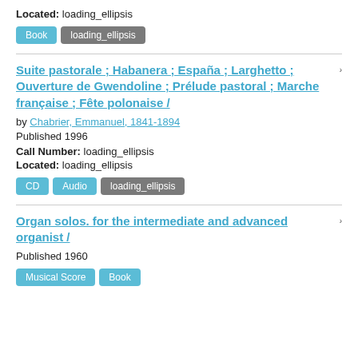Located: loading_ellipsis
Book | loading_ellipsis
Suite pastorale ; Habanera ; España ; Larghetto ; Ouverture de Gwendoline ; Prélude pastoral ; Marche française ; Fête polonaise /
by Chabrier, Emmanuel, 1841-1894
Published 1996
Call Number: loading_ellipsis
Located: loading_ellipsis
CD | Audio | loading_ellipsis
Organ solos. for the intermediate and advanced organist /
Published 1960
Musical Score | Book